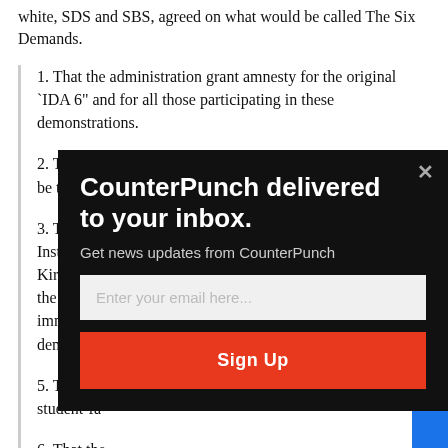white, SDS and SBS, agreed on what would be called The Six Demands.
1. That the administration grant amnesty for the original `IDA 6” and for all those participating in these demonstrations.
2. That construction off the gymnasium in Morningside Park be terminated immediately.
3. That the [obscured by modal] Institute f[obscured] Kirk and T[obscured] the Execut[obscured] immediate[obscured] demonstra[obscured]
5. That all [obscured] student-fa[obscured]
6. That the[obscured]
[Figure (other): Newsletter signup modal popup with dark background. Title: 'CounterPunch delivered to your inbox.' Subtitle: 'Get news updates from CounterPunch'. Email input field with placeholder 'Enter your email here...' and orange 'Sign Up' button. Close button (x) in top right corner.]